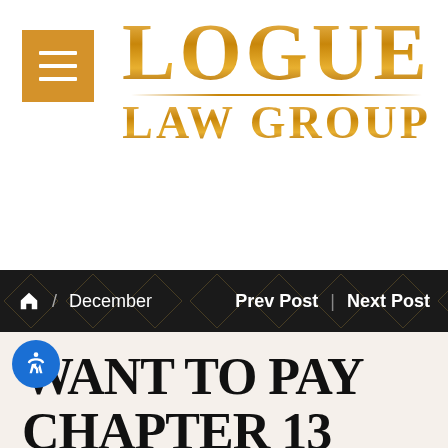[Figure (logo): Logue Law Group logo with gold serif text and golden menu icon]
⌂ / December    Prev Post | Next Post
WANT TO PAY CHAPTER 13 BANKRUPTCY